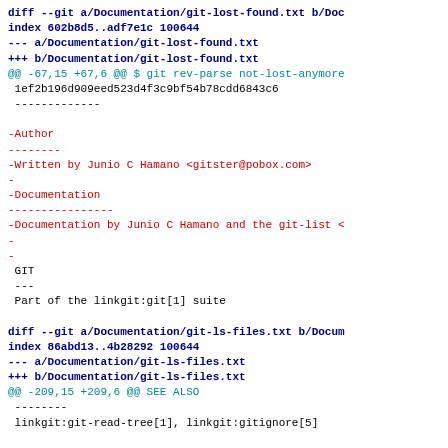diff --git a/Documentation/git-lost-found.txt b/Doc
index 602b8d5..adf7e1c 100644
--- a/Documentation/git-lost-found.txt
+++ b/Documentation/git-lost-found.txt
@@ -67,15 +67,6 @@ $ git rev-parse not-lost-anymore
 1ef2b196d909eed523d4f3c9bf54b78cdd6843c6
 -------------

-Author
--------
-Written by Junio C Hamano <gitster@pobox.com>
-
-Documentation
----------------
-Documentation by Junio C Hamano and the git-list <
-
-
 GIT
 ---
 Part of the linkgit:git[1] suite

diff --git a/Documentation/git-ls-files.txt b/Docum
index 86abd13..4b28292 100644
--- a/Documentation/git-ls-files.txt
+++ b/Documentation/git-ls-files.txt
@@ -209,15 +209,6 @@ SEE ALSO
 --------
 linkgit:git-read-tree[1], linkgit:gitignore[5]

-